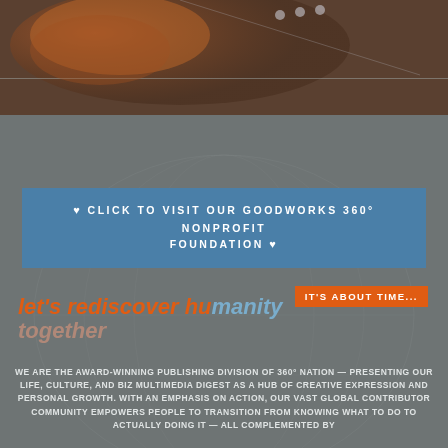[Figure (photo): Top portion of page showing a dark background with guitar/music imagery in brown and grey tones]
♥ CLICK TO VISIT OUR GOODWORKS 360° NONPROFIT FOUNDATION ♥
[Figure (illustration): Orange button/tag with text IT'S ABOUT TIME...]
let's rediscover humanity together
WE ARE THE AWARD-WINNING PUBLISHING DIVISION OF 360° NATION — PRESENTING OUR LIFE, CULTURE, AND BIZ MULTIMEDIA DIGEST AS A HUB OF CREATIVE EXPRESSION AND PERSONAL GROWTH. WITH AN EMPHASIS ON ACTION, OUR VAST GLOBAL CONTRIBUTOR COMMUNITY EMPOWERS PEOPLE TO TRANSITION FROM KNOWING WHAT TO DO TO ACTUALLY DOING IT — ALL COMPLEMENTED BY